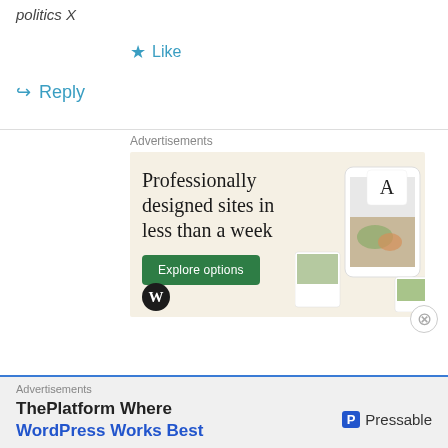politics X
★ Like
↪ Reply
Advertisements
[Figure (illustration): WordPress.com advertisement: 'Professionally designed sites in less than a week' with an Explore options button and website mockup imagery, WordPress logo at bottom left]
Advertisements
[Figure (illustration): Pressable advertisement: 'ThePlatform Where WordPress Works Best' with Pressable logo]